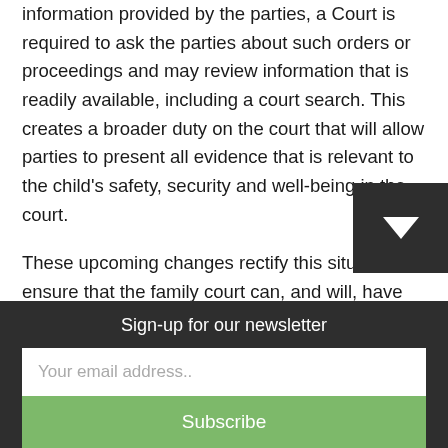information provided by the parties, a Court is required to ask the parties about such orders or proceedings and may review information that is readily available, including a court search. This creates a broader duty on the court that will allow parties to present all evidence that is relevant to the child's safety, security and well-being in the court.
These upcoming changes rectify this situation to ensure that the family court can, and will, have all of the relevant information about the parties and unique situation.
Sign-up for our newsletter
Your email address..
Subscribe